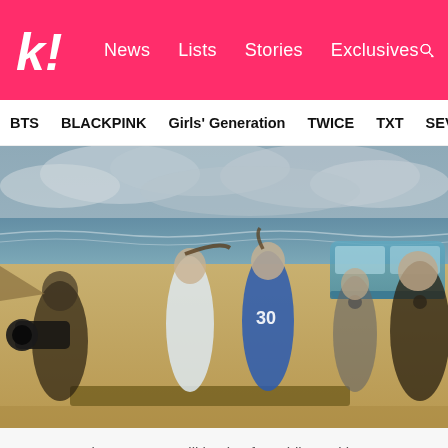k! News Lists Stories Exclusives
BTS BLACKPINK Girls' Generation TWICE TXT SEVE
[Figure (photo): Behind-the-scenes photo of Nayeon and Jeongyeon from TWICE at a beach, wearing sporty outfits (one in a white jacket with blue top, one in a blue jersey numbered 30), with striped socks. A cameraman is visible on the left, another person on the right, and a blue van in the background. Cloudy sky over the ocean.]
Nayeon and Jeongyeon still having fun while working